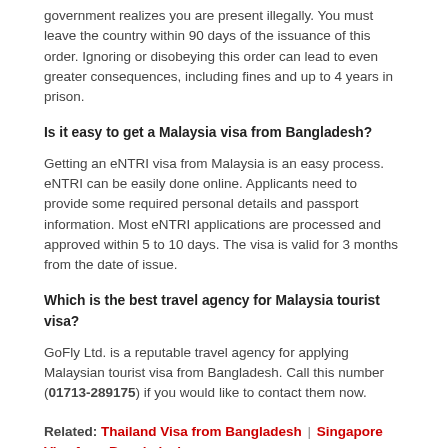government realizes you are present illegally. You must leave the country within 90 days of the issuance of this order. Ignoring or disobeying this order can lead to even greater consequences, including fines and up to 4 years in prison.
Is it easy to get a Malaysia visa from Bangladesh?
Getting an eNTRI visa from Malaysia is an easy process. eNTRI can be easily done online. Applicants need to provide some required personal details and passport information. Most eNTRI applications are processed and approved within 5 to 10 days. The visa is valid for 3 months from the date of issue.
Which is the best travel agency for Malaysia tourist visa?
GoFly Ltd. is a reputable travel agency for applying Malaysian tourist visa from Bangladesh. Call this number (01713-289175) if you would like to contact them now.
Related: Thailand Visa from Bangladesh | Singapore Visa from Bangladesh